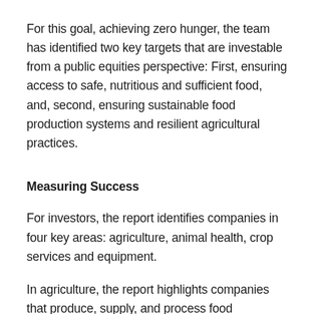For this goal, achieving zero hunger, the team has identified two key targets that are investable from a public equities perspective: First, ensuring access to safe, nutritious and sufficient food, and, second, ensuring sustainable food production systems and resilient agricultural practices.
Measuring Success
For investors, the report identifies companies in four key areas: agriculture, animal health, crop services and equipment.
In agriculture, the report highlights companies that produce, supply, and process food commodities